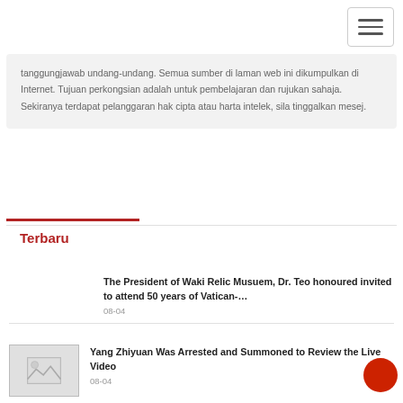[Figure (other): Hamburger menu icon button in top right corner]
tanggungjawab undang-undang. Semua sumber di laman web ini dikumpulkan di Internet. Tujuan perkongsian adalah untuk pembelajaran dan rujukan sahaja. Sekiranya terdapat pelanggaran hak cipta atau harta intelek, sila tinggalkan mesej.
Terbaru
The President of Waki Relic Musuem, Dr. Teo honoured invited to attend 50 years of Vatican-...
08-04
[Figure (photo): Placeholder image thumbnail with mountain/landscape icon]
Yang Zhiyuan Was Arrested and Summoned to Review the Live Video
08-04